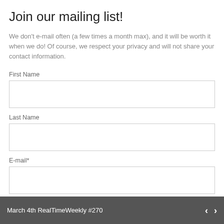Join our mailing list!
We don't e-mail often (a few times a month max), and it will be worth it when we do! Of course, we respect your privacy and will not share your contact information.
First Name
Last Name
E-mail*
Sign up now!
March 4th RealTimeWeekly #270